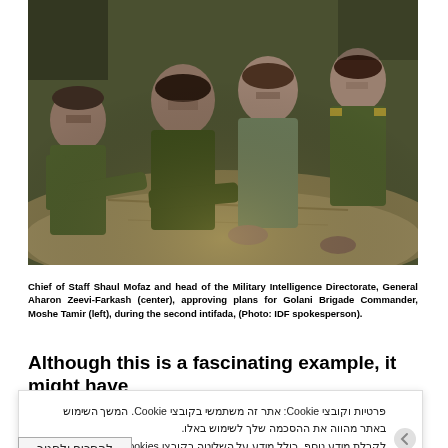[Figure (photo): Four Israeli military officers in olive green uniforms leaning over a map or document on a table, studying it together. The soldiers appear to be in a military briefing or planning session.]
Chief of Staff Shaul Mofaz and head of the Military Intelligence Directorate, General Aharon Zeevi-Farkash (center), approving plans for Golani Brigade Commander, Moshe Tamir (left), during the second intifada, (Photo: IDF spokesperson).
Although this is a fascinating example, it might have
פרטיות וקובצי Cookie: אתר זה משתמשי בקובצי Cookie. המשך השימוש באתר מהווה את ההסכמה שלך לשימוש באלו. לקבלת מידע נוסף, כולל מידע על השליטה בקובצי Cookies, ניתן לעיון בעמוד: מדיניות קובצי ה-Cookie
להסכים ולסגור